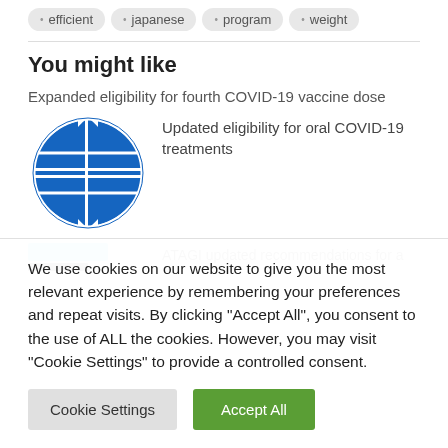efficient
japanese
program
weight
You might like
Expanded eligibility for fourth COVID-19 vaccine dose
[Figure (logo): Blue globe/world icon]
Updated eligibility for oral COVID-19 treatments
ATAGI updated recommendations for a
We use cookies on our website to give you the most relevant experience by remembering your preferences and repeat visits. By clicking “Accept All”, you consent to the use of ALL the cookies. However, you may visit "Cookie Settings" to provide a controlled consent.
Cookie Settings
Accept All